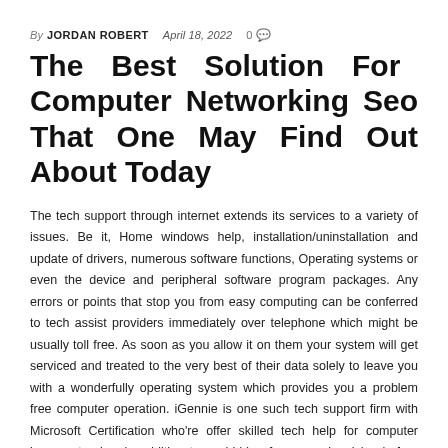By JORDAN ROBERT   April 18, 2022   0 💬
The Best Solution For Computer Networking Seo That One May Find Out About Today
The tech support through internet extends its services to a variety of issues. Be it, Home windows help, installation/uninstallation and update of drivers, numerous software functions, Operating systems or even the device and peripheral software program packages. Any errors or points that stop you from easy computing can be conferred to tech assist providers immediately over telephone which might be usually toll free. As soon as you allow it on them your system will get serviced and treated to the very best of their data solely to leave you with a wonderfully operating system which provides you a problem free computer operation. iGennie is one such tech support firm with Microsoft Certification who're offer skilled tech help for computer issues at a low in addition to no hidden fees, no gimmicks, before handing over the system to you, they just remember to